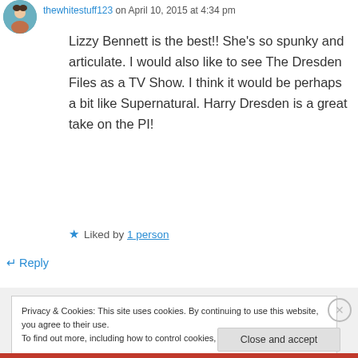thewhitestuff123 on April 10, 2015 at 4:34 pm
Lizzy Bennett is the best!! She's so spunky and articulate. I would also like to see The Dresden Files as a TV Show. I think it would be perhaps a bit like Supernatural. Harry Dresden is a great take on the PI!
★ Liked by 1 person
↵ Reply
Privacy & Cookies: This site uses cookies. By continuing to use this website, you agree to their use.
To find out more, including how to control cookies, see here: Cookie Policy
Close and accept